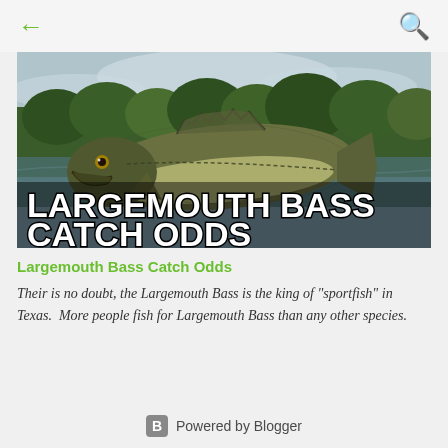← [back] [search]
[Figure (photo): Close-up photo of a large Largemouth Bass fish with text overlay reading 'LARGEMOUTH BASS CATCH ODDS', set against a background of a river and green trees]
Largemouth Bass Catch Odds
Their is no doubt, the Largemouth Bass is the king of "sportfish" in Texas.  More people fish for Largemouth Bass than any other species.
Powered by Blogger